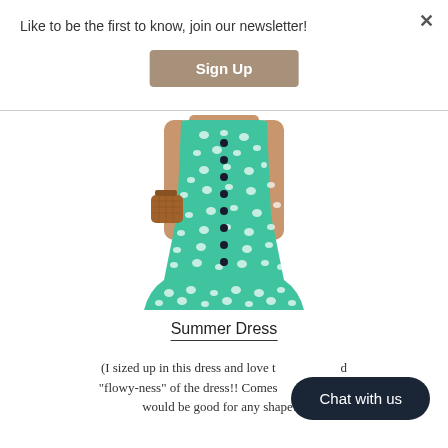Like to be the first to know, join our newsletter!
Sign Up
[Figure (photo): Woman wearing a teal/mint green button-front summer dress with white polka dot pattern, holding a brown woven bag]
Summer Dress
(I sized up in this dress and love the "flowy-ness" of the dress!! Comes in and would be good for any shape!!)
Chat with us